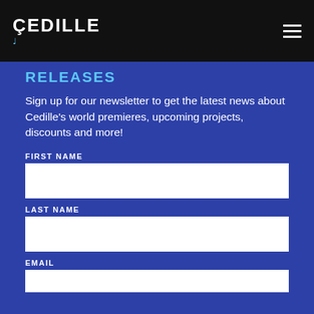ÇEDILLE
RELEASES
Sign up for our newsletter to get the latest news about Cedille's world premieres, upcoming projects, discounts and more!
FIRST NAME
LAST NAME
EMAIL